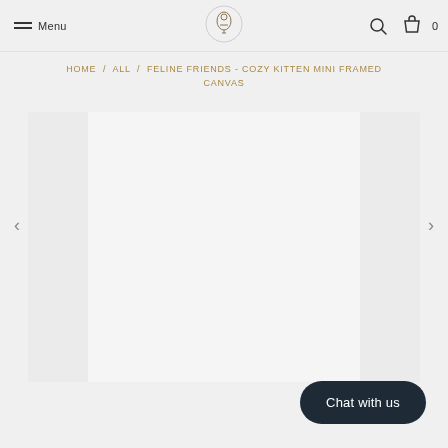Menu | [Logo] | [Search] [Cart] 0
HOME / ALL / FELINE FRIENDS - COZY KITTEN MINI FRAMED CANVAS
[Figure (photo): Product image display area for framed canvas, currently showing a light gray placeholder with side panels]
Chat with us